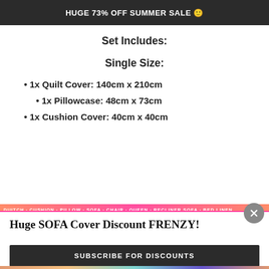HUGE 73% OFF SUMMER SALE 😊
Set Includes:
Single Size:
1x Quilt Cover: 140cm x 210cm
1x Pillowcase: 48cm x 73cm
1x Cushion Cover: 40cm x 40cm
Huge SOFA Cover Discount FRENZY!
SUBSCRIBE FOR DISCOUNTS